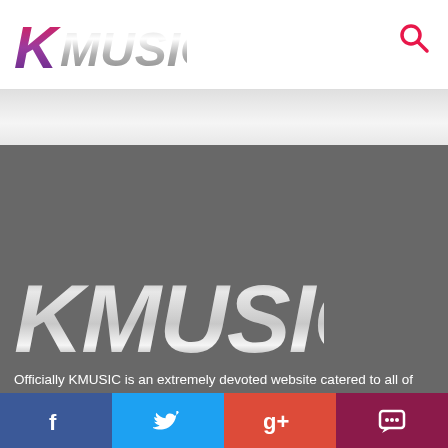[Figure (logo): KMUSIC logo in nav bar — K in pink/purple gradient, MUSIC in silver metallic letters]
[Figure (logo): Search icon (magnifying glass) in pink/red color in top right of nav bar]
[Figure (logo): Large KMUSIC silver metallic logo on dark gray background]
Officially KMUSIC is an extremely devoted website catered to all of your K-Pop needs! An around the clock team provides fans with the latest things K-Pop including: comebacks, news, trends, and much more. We mix things up here at KMUSIC, by providing fun interactives for fans, like games and quizzes. Just like you, everyone here at Officially KMUSIC are devoted to this wonderful world of entertainment, and add a personal touch to all we do. The many contributors at Officially
[Figure (infographic): Social share bar at bottom with Facebook (blue), Twitter (light blue), Google+ (red), and comment/chat (dark red/maroon) buttons]